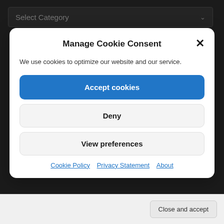[Figure (screenshot): Dark top bar with a 'Select Category' dropdown input field with a chevron arrow on the right]
Manage Cookie Consent
We use cookies to optimize our website and our service.
Accept cookies
Deny
View preferences
Cookie Policy   Privacy Statement   About
Close and accept